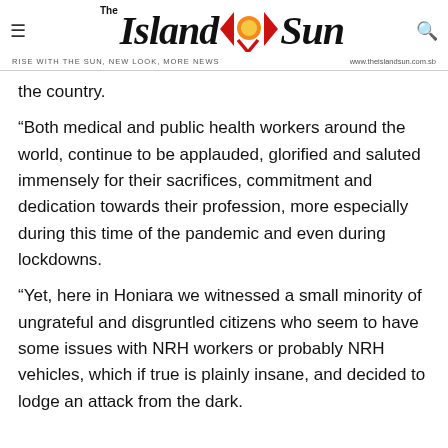[Figure (logo): The Island Sun newspaper logo with hamburger menu icon, red and orange sun graphic between arrows, and search icon]
the country.
“Both medical and public health workers around the world, continue to be applauded, glorified and saluted immensely for their sacrifices, commitment and dedication towards their profession, more especially during this time of the pandemic and even during lockdowns.
“Yet, here in Honiara we witnessed a small minority of ungrateful and disgruntled citizens who seem to have some issues with NRH workers or probably NRH vehicles, which if true is plainly insane, and decided to lodge an attack from the dark.